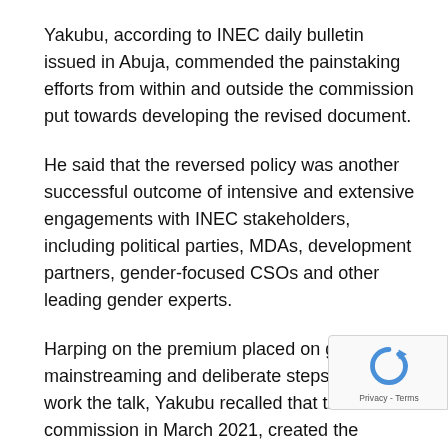Yakubu, according to INEC daily bulletin issued in Abuja, commended the painstaking efforts from within and outside the commission put towards developing the revised document.
He said that the reversed policy was another successful outcome of intensive and extensive engagements with INEC stakeholders, including political parties, MDAs, development partners, gender-focused CSOs and other leading gender experts.
Harping on the premium placed on gender mainstreaming and deliberate steps taken to work the talk, Yakubu recalled that the commission in March 2021, created the Gender and Inclusivity Department.
This decision, according to him, was carefully taken by the